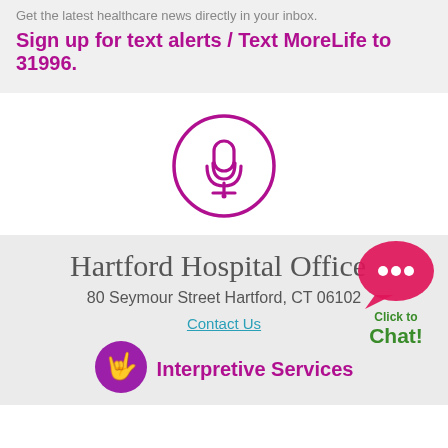Get the latest healthcare news directly in your inbox.
Sign up for text alerts / Text MoreLife to 31996.
[Figure (illustration): Podcast icon: a circle outline in magenta/purple containing a microphone/podcast symbol with radiating arcs]
Hartford Hospital Office
80 Seymour Street Hartford, CT 06102
Contact Us
[Figure (illustration): Purple circle icon with a hand signing/ASL gesture, representing Interpretive Services]
Interpretive Services
[Figure (illustration): Click to Chat widget: pink speech bubble with ellipsis dots, green text saying Click to Chat!]